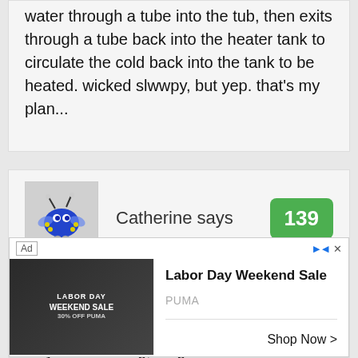water through a tube into the tub, then exits through a tube back into the heater tank to circulate the cold back into the tank to be heated. wicked slwwpy, but yep. that's my plan...
Catherine says
139
My previous house had a jetted tub. I LOVED it. Single, older woman, had no problems with it or plumbing bills. Water stayed hot a long, long time
[Figure (screenshot): Advertisement for PUMA Labor Day Weekend Sale showing a person wearing athletic wear, with 'Ad' label, navigation arrows, close button, brand name PUMA, and 'Shop Now >' call to action.]